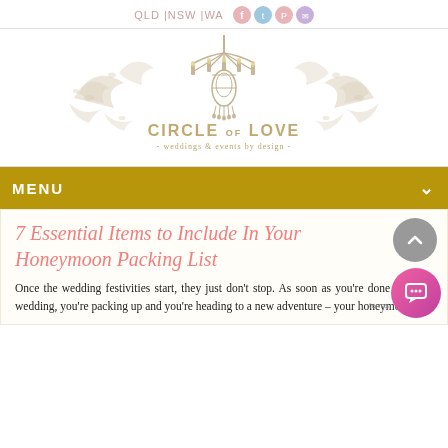QLD |NSW |WA
[Figure (logo): Circle of Love weddings & events by design logo with chandelier and ornate scrollwork]
MENU
7 Essential Items to Include In Your Honeymoon Packing List
Once the wedding festivities start, they just don't stop. As soon as you're done with the wedding, you're packing up and you're heading to a new adventure – your honeymoon